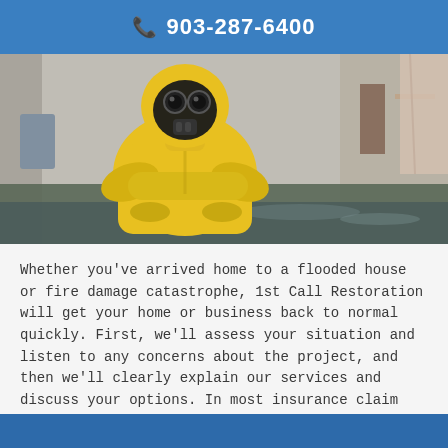903-287-6400
[Figure (photo): A person in a yellow hazmat suit and black gas mask standing with arms crossed in a flooded indoor room. Water covers the floor, and the background shows a flood-damaged interior.]
Whether you've arrived home to a flooded house or fire damage catastrophe, 1st Call Restoration will get your home or business back to normal quickly. First, we'll assess your situation and listen to any concerns about the project, and then we'll clearly explain our services and discuss your options. In most insurance claim instances, we'll immediately start your project while you're waiting for payment from the insurance company as well as help you manage your insurance claim with your adjuster.